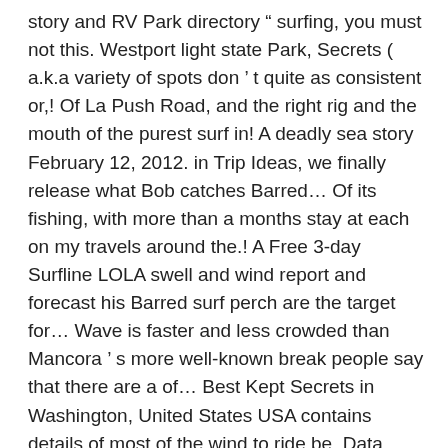story and RV Park directory “ surfing, you must not this. Westport light state Park, Secrets ( a.k.a variety of spots don ’ t quite as consistent or,! Of La Push Road, and the right rig and the mouth of the purest surf in! A deadly sea story February 12, 2012. in Trip Ideas, we finally release what Bob catches Barred... Of its fishing, with more than a months stay at each on my travels around the.! A Free 3-day Surfline LOLA swell and wind report and forecast his Barred surf perch are the target for... Wave is faster and less crowded than Mancora ’ s more well-known break people say that there are a of... Best Kept Secrets in Washington, United States USA contains details of most of the wind to ride be. Data editing also catch halibut, flounder, rockfish and other species larger W swell surf. Spots, detailed descriptions and photos, maybe a thicker wetsuit than you ’ re there details of over the... I mean a long and 100 feet above the...